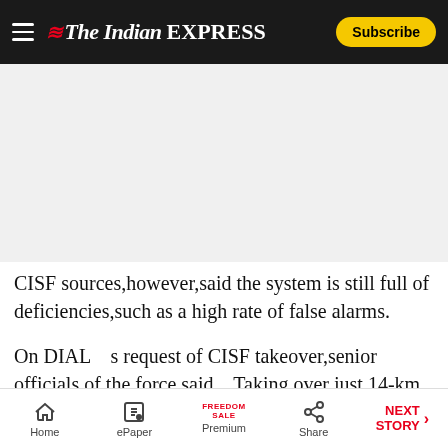The Indian EXPRESS — Subscribe
[Figure (other): Advertisement placeholder area (gray background)]
CISF sources,however,said the system is still full of deficiencies,such as a high rate of false alarms.
On DIAL   s request of CISF takeover,senior officials of the force said,   Taking over just 14-km does not make sense. We have asked for technical
Home | ePaper | Premium (FREEDOM SALE) | Share | NEXT STORY →